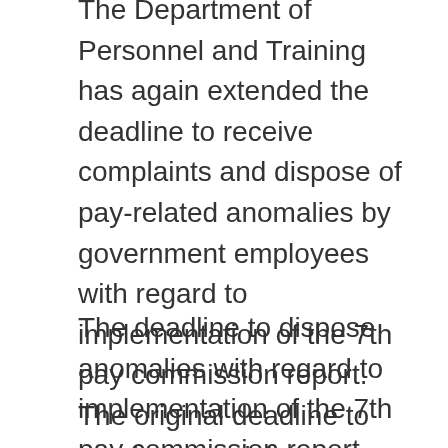The Department of Personnel and Training has again extended the deadline to receive complaints and dispose of pay-related anomalies by government employees with regard to implementation of the 7th pay commission report. The original deadline to receive complaints on any discrepancy arising out of the implementation of the 7th pay commission report was February 15. It was first extended to May 15 and then to August 15, an order issued by the Department of Personnel and Training (DoPT) said.
The deadline to dispose anomalies with regard to implementation of the 7th pay commission report would now be February 15, 2018. The original time limit was August 15, which was later extended to November 15. The government has accepted most